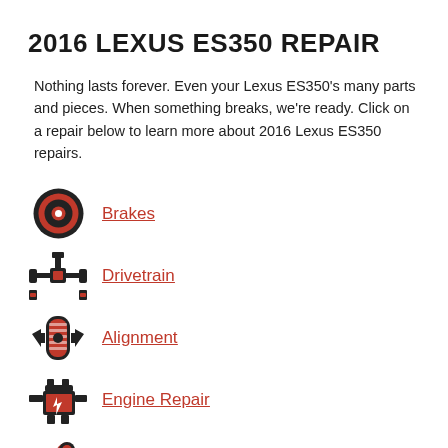2016 LEXUS ES350 REPAIR
Nothing lasts forever. Even your Lexus ES350's many parts and pieces. When something breaks, we're ready. Click on a repair below to learn more about 2016 Lexus ES350 repairs.
Brakes
Drivetrain
Alignment
Engine Repair
Services